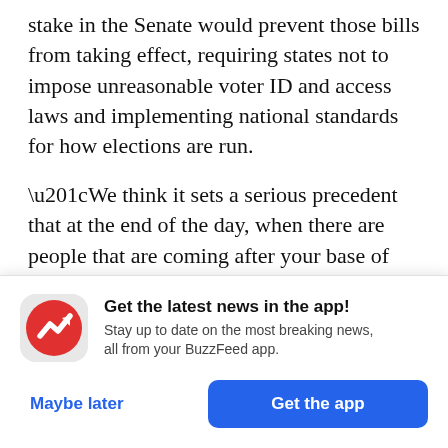stake in the Senate would prevent those bills from taking effect, requiring states not to impose unreasonable voter ID and access laws and implementing national standards for how elections are run.
“We think it sets a serious precedent that at the end of the day, when there are people that are coming after your base of voters, right, and you’re stringing it out, and you’re not reacting,” said LaTosha Brown, a Georgia-based advocate and cofounder of Black
[Figure (logo): BuzzFeed app icon: red circle with white upward-trending arrow logo]
Get the latest news in the app! Stay up to date on the most breaking news, all from your BuzzFeed app.
Maybe later
Get the app